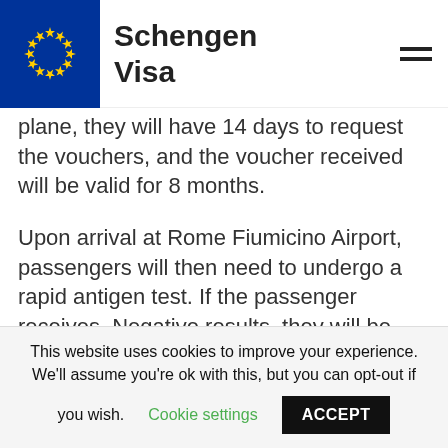Schengen Visa
plane, they will have 14 days to request the vouchers, and the voucher received will be valid for 8 months.
Upon arrival at Rome Fiumicino Airport, passengers will then need to undergo a rapid antigen test. If the passenger receives. Negative results, they will be granted freedom of access to travel Italian territory without undergoing a quarantine.
AT600 Rome Fiumicino Leonardo Da Vinci
This website uses cookies to improve your experience. We'll assume you're ok with this, but you can opt-out if you wish. Cookie settings ACCEPT